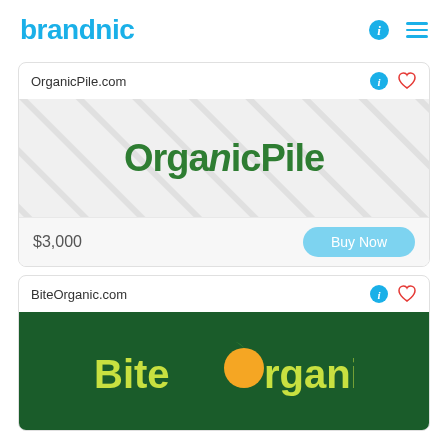brandnic
OrganicPile.com
[Figure (logo): OrganicPile logo — dark green bold text 'OrganicPile' on light grey background with diagonal watermark pattern]
$3,000
Buy Now
BiteOrganic.com
[Figure (logo): BiteOrganic logo — yellow-green 'Bite' and 'rganic' text with orange circle fruit replacing the 'O', on dark green background]